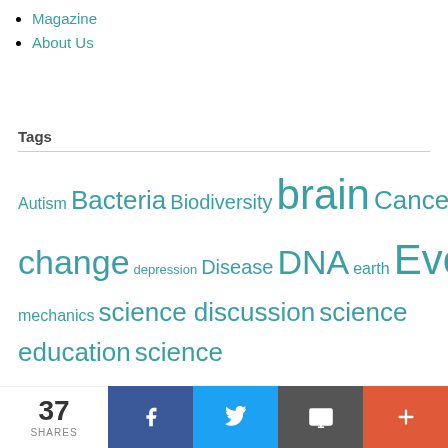Magazine
About Us
Tags
Autism Bacteria Biodiversity brain Cancer change Climate Climate change depression Disease DNA earth Evolution evolutionary exoplanet extinction Food Gender Gene Genetics health hiv Human Life Light Mars Memory Neuron Obesity Physics Planet Predation Psychology quantum Quantum mechanics science discussion science education science news sexual solar sperm Star system Testosterone Water
37 SHARES